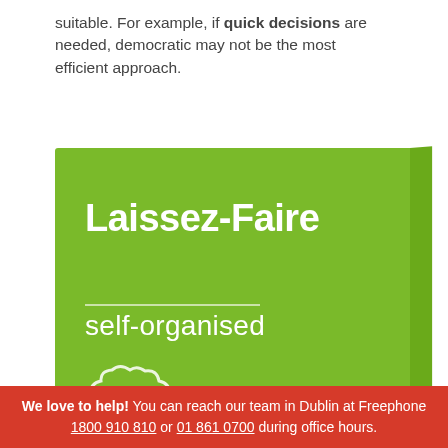suitable. For example, if quick decisions are needed, democratic may not be the most efficient approach.
[Figure (illustration): Green card/book graphic with 'Laissez-Faire' as the title and 'self-organised' as subtitle, with a cloud icon below, set against a bright green background with a darker right-side shadow.]
We love to help! You can reach our team in Dublin at Freephone 1800 910 810 or 01 861 0700 during office hours.